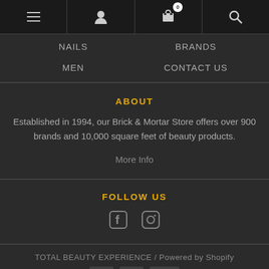[Figure (screenshot): Top navigation bar with hamburger menu, user icon, shopping cart with badge showing 0, and search icon]
NAILS
BRANDS
MEN
CONTACT US
ABOUT
Established in 1994, our Brick & Mortar Store offers over 900 brands and 10,000 square feet of beauty products.
More Info
FOLLOW US
[Figure (illustration): Facebook and Instagram social media icons]
TOTAL BEAUTY EXPERIENCE / Powered by Shopify